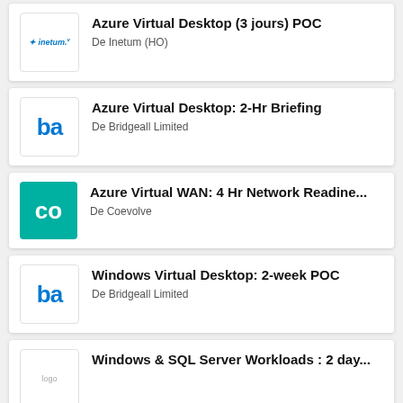Azure Virtual Desktop (3 jours) POC — De Inetum (HO)
Azure Virtual Desktop: 2-Hr Briefing — De Bridgeall Limited
Azure Virtual WAN: 4 Hr Network Readine... — De Coevolve
Windows Virtual Desktop: 2-week POC — De Bridgeall Limited
Windows & SQL Server Workloads : 2 day...